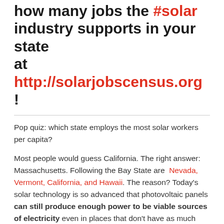how many jobs the #solar industry supports in your state at http://solarjobscensus.org !
Pop quiz: which state employs the most solar workers per capita?
Most people would guess California. The right answer: Massachusetts. Following the Bay State are Nevada, Vermont, California, and Hawaii. The reason? Today's solar technology is so advanced that photovoltaic panels can still produce enough power to be viable sources of electricity even in places that don't have as much sunlight as states like California or Nevada.
6. RENEWABLES OFFER